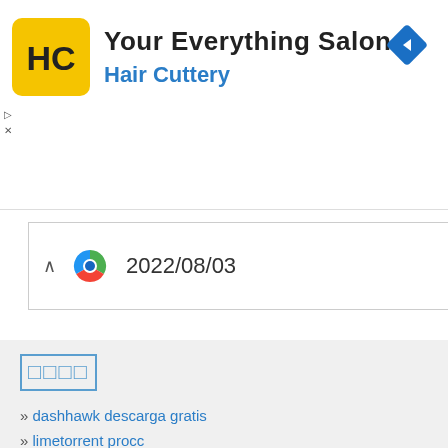[Figure (logo): Hair Cuttery advertisement banner with HC logo, 'Your Everything Salon' title, 'Hair Cuttery' subtitle in blue, and navigation arrow icon]
2022/08/03
□□□□
dashhawk descarga gratis
limetorrent procc
mortara generator
mlb front office manager windows
hwc bagus
mirror maker download
sog 3g dwnlod
pantum m7200fdw driver download
chate engle app 10 pc